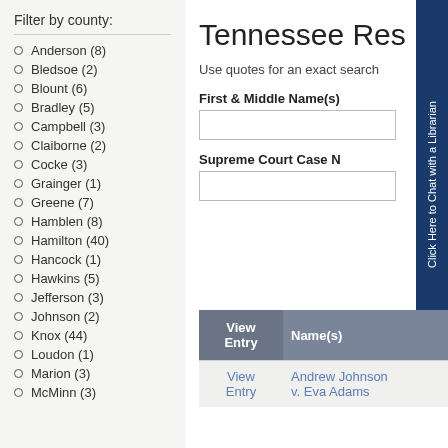Filter by county:
Anderson (8)
Bledsoe (2)
Blount (6)
Bradley (5)
Campbell (3)
Claiborne (2)
Cocke (3)
Grainger (1)
Greene (7)
Hamblen (8)
Hamilton (40)
Hancock (1)
Hawkins (5)
Jefferson (3)
Johnson (2)
Knox (44)
Loudon (1)
Marion (3)
McMinn (3)
Tennessee Res
Use quotes for an exact search
First & Middle Name(s)
Supreme Court Case N
| View Entry | Name(s) |
| --- | --- |
| View Entry | Andrew Johnson v. Eva Adams | Wa |